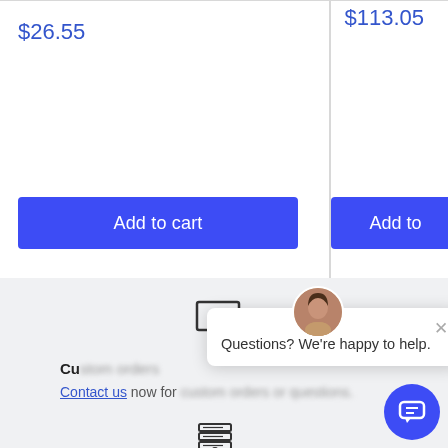$26.55
$113.05
Add to cart
Add to
Cu...
Contact us now for...custom orders or questions.
Questions? We're happy to help.
[Figure (screenshot): Monitor icon (screen with cursor)]
[Figure (screenshot): Secure/locked server icon]
[Figure (screenshot): Chat bubble popup with avatar and close button]
[Figure (screenshot): Blue circular chat button with speech bubble icon]